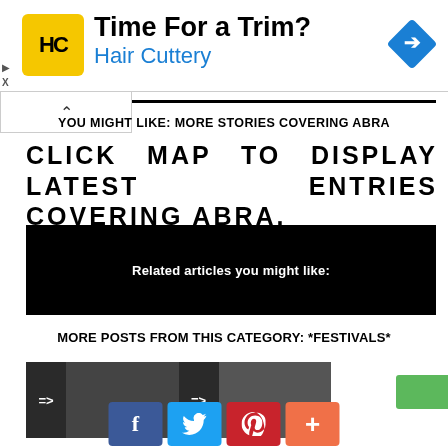[Figure (other): Hair Cuttery advertisement banner with yellow HC logo, 'Time For a Trim?' headline, and blue navigation icon on the right]
YOU MIGHT LIKE: MORE STORIES COVERING ABRA
CLICK MAP TO DISPLAY LATEST ENTRIES COVERING ABRA.
[Figure (other): Black box with white text: Related articles you might like:]
MORE POSTS FROM THIS CATEGORY: *FESTIVALS*
[Figure (other): Dark image strip with two arrow buttons and a photo]
[Figure (other): Social share buttons: Facebook, Twitter, Pinterest, Plus]